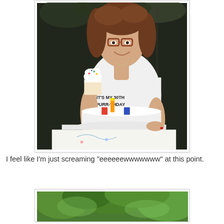[Figure (photo): A woman with curly brown hair and glasses wearing a white t-shirt that reads 'IT'S MY 30TH PURR-THDAY', smiling while holding up a piece of cake from a white frosted birthday cake on a table with a decorative tablecloth. The background shows dark foliage/fence.]
I feel like I'm just screaming "eeeeeewwwwwww" at this point.
[Figure (photo): Partial view of an outdoor scene with green trees/foliage visible at the top of the frame.]